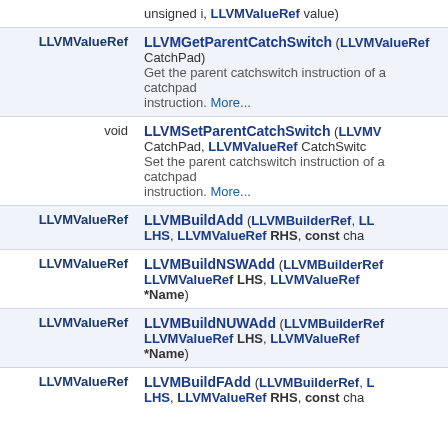| Return Type | Function Signature |
| --- | --- |
|  | unsigned i, LLVMValueRef value) |
| LLVMValueRef | LLVMGetParentCatchSwitch (LLVMValueRef CatchPad)
Get the parent catchswitch instruction of a catchpad instruction. More... |
| void | LLVMSetParentCatchSwitch (LLVMValueRef CatchPad, LLVMValueRef CatchSwitc
Set the parent catchswitch instruction of a catchpad instruction. More... |
| LLVMValueRef | LLVMBuildAdd (LLVMBuilderRef, LLVMValueRef LHS, LLVMValueRef RHS, const cha |
| LLVMValueRef | LLVMBuildNSWAdd (LLVMBuilderRef, LLVMValueRef LHS, LLVMValueRef *Name) |
| LLVMValueRef | LLVMBuildNUWAdd (LLVMBuilderRef, LLVMValueRef LHS, LLVMValueRef *Name) |
| LLVMValueRef | LLVMBuildFAdd (LLVMBuilderRef, LLVMValueRef LHS, LLVMValueRef RHS, const cha |